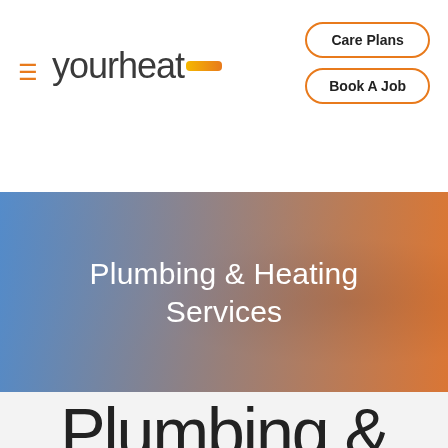yourheat — navigation bar with hamburger menu, Care Plans button, Book A Job button
[Figure (photo): Hero banner with blue-to-orange gradient overlay over a photo showing a kitchen shelf area on the left and a heating engineer/technician working on a boiler on the right. Text overlay reads 'Plumbing & Heating Services'.]
Plumbing & Heating